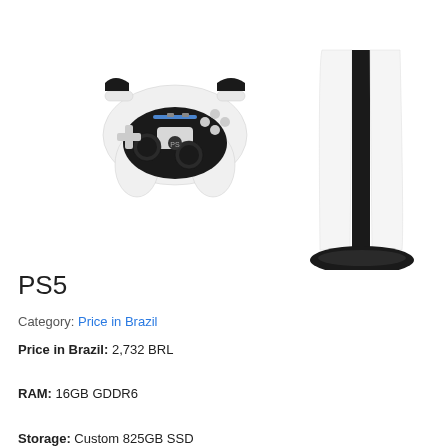[Figure (photo): PS5 console shown vertically on its stand (right) and DualSense wireless controller (left) on a white background]
PS5
Category: Price in Brazil
Price in Brazil: 2,732 BRL
RAM: 16GB GDDR6
Storage: Custom 825GB SSD